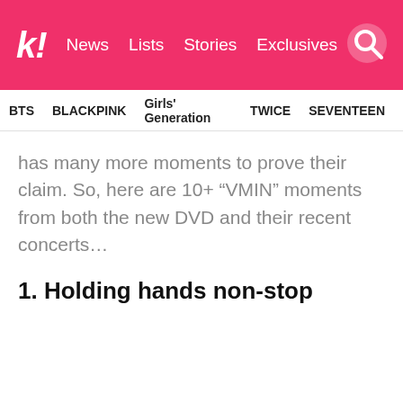k! News  Lists  Stories  Exclusives
BTS  BLACKPINK  Girls' Generation  TWICE  SEVENTEEN
has many more moments to prove their claim. So, here are 10+ “VMIN” moments from both the new DVD and their recent concerts…
1. Holding hands non-stop